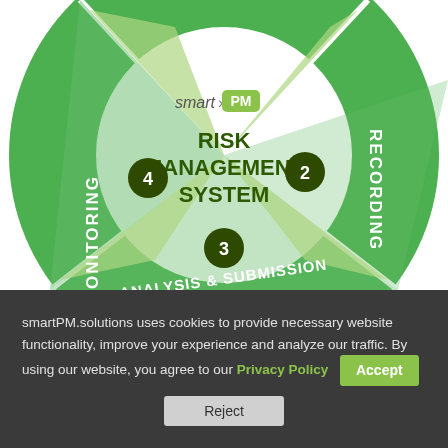[Figure (infographic): Circular risk management system diagram with smart>PM logo in center. Shows 4 segments: MONITORING (4), RECORDING (2), ANALYSIS & SUBMISSION (3), and a partially visible segment at top. Center text reads RISK MANAGEMENT SYSTEM.]
smartPM.solutions uses cookies to provide necessary website functionality, improve your experience and analyze our traffic. By using our website, you agree to our Privacy Policy